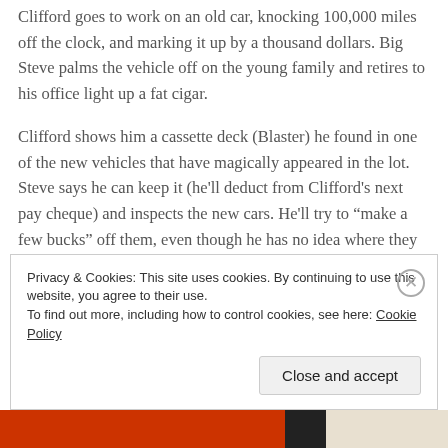Clifford goes to work on an old car, knocking 100,000 miles off the clock, and marking it up by a thousand dollars. Big Steve palms the vehicle off on the young family and retires to his office light up a fat cigar.
Clifford shows him a cassette deck (Blaster) he found in one of the new vehicles that have magically appeared in the lot. Steve says he can keep it (he'll deduct from Clifford's next pay cheque) and inspects the new cars. He'll try to “make a few bucks” off them, even though he has no idea where they came from, whether they are stolen, and has no paperwork!! However, Steve wants
Privacy & Cookies: This site uses cookies. By continuing to use this website, you agree to their use.
To find out more, including how to control cookies, see here: Cookie Policy